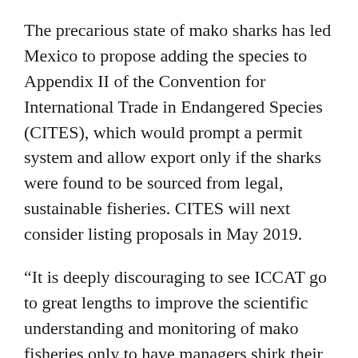The precarious state of mako sharks has led Mexico to propose adding the species to Appendix II of the Convention for International Trade in Endangered Species (CITES), which would prompt a permit system and allow export only if the sharks were found to be sourced from legal, sustainable fisheries. CITES will next consider listing proposals in May 2019.
“It is deeply discouraging to see ICCAT go to great lengths to improve the scientific understanding and monitoring of mako fisheries only to have managers shirk their responsibility to prevent population depletion,” said Sonja Fordham, President of Shark Advocates International. “This inaction